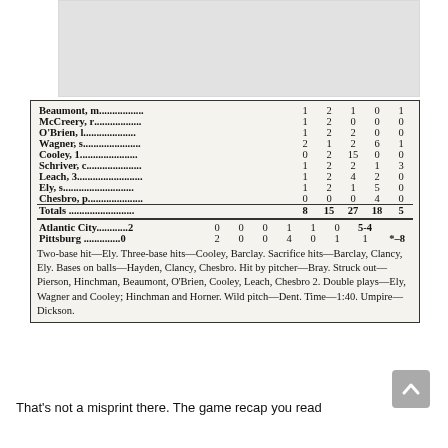| Player | R | H | PO | A | E |
| --- | --- | --- | --- | --- | --- |
| Beaumont, m | 1 | 2 | 1 | 0 | 1 |
| McCreery, r | 1 | 2 | 0 | 0 | 0 |
| O'Brien, l | 1 | 2 | 2 | 0 | 0 |
| Wagner, s | 2 | 1 | 2 | 6 | 1 |
| Cooley, 1 | 0 | 2 | 15 | 0 | 0 |
| Schriver, c | 1 | 2 | 2 | 1 | 3 |
| Leach, 3 | 1 | 2 | 4 | 2 | 0 |
| Ely, s | 1 | 2 | 1 | 5 | 0 |
| Chesbro, p | 0 | 0 | 0 | 4 | 0 |
| Totals | 8 | 15 | 27 | 18 | 5 |
| Team | 1 | 2 | 3 | 4 | 5 | 6 | 7 | 8 | 9 | R |
| --- | --- | --- | --- | --- | --- | --- | --- | --- | --- | --- |
| Atlantic City | 2 | 0 | 0 | 0 | 1 | 1 | 0 | 5-4 |
| Pittsburg | 0 | 2 | 0 | 0 | 4 | 0 | 1 | 1 | *-8 |
Two-base hit—Ely. Three-base hits—Cooley, Barclay. Sacrifice hits—Barclay, Clancy, Ely. Bases on balls—Hayden, Clancy, Chesbro. Hit by pitcher—Bray. Struck out—Pierson, Hinchman, Beaumont, O'Brien, Cooley, Leach, Chesbro 2. Double plays—Ely, Wagner and Cooley; Hinchman and Horner. Wild pitch—Dent. Time—1:40. Umpire—Dickson.
That's not a misprint there. The game recap you read